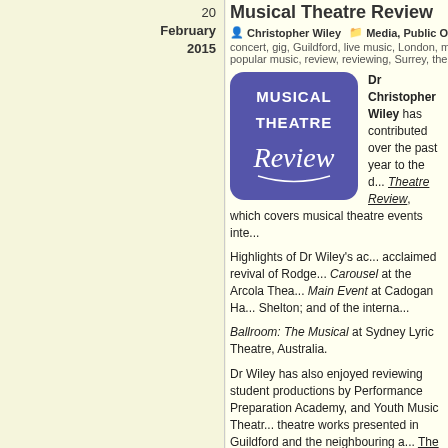20 February 2015
Musical Theatre Review
Christopher Wiley   Media, Public Output   Chris W... concert, gig, Guildford, live music, London, media, musical the... popular music, review, reviewing, Surrey, theatre, Wiley
[Figure (logo): Musical Theatre Review logo — purple rounded rectangle with bold white text reading MUSICAL THEATRE Review]
Dr Christopher Wiley has contributed over the past year to the d... Theatre Review, which covers musical theatre events inte... Highlights of Dr Wiley's ac... acclaimed revival of Rodge... Carousel at the Arcola Thea... Main Event at Cadogan Ha... Shelton; and of the interna... Ballroom: The Musical at Sydney Lyric Theatre, Australia.
Dr Wiley has also enjoyed reviewing student productions by Performance Preparation Academy, and Youth Music Theatr... theatre works presented in Guildford and the neighbouring a... The Pheasantry, London. His reviews have attracted much a...
A complete listing of Dr Wiley's reviews for Musical Theatre R... following link: http://www.scoop.it/t/christopher-wiley-bibliogr...